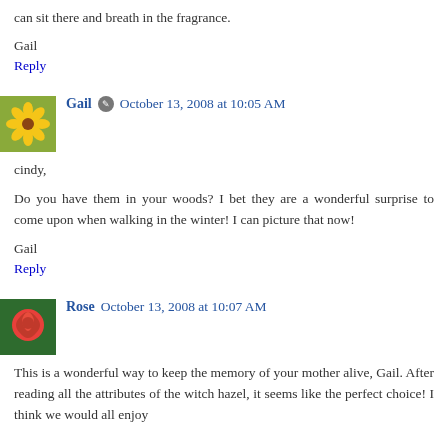can sit there and breath in the fragrance.
Gail
Reply
Gail  October 13, 2008 at 10:05 AM
cindy,

Do you have them in your woods? I bet they are a wonderful surprise to come upon when walking in the winter! I can picture that now!

Gail
Reply
Rose  October 13, 2008 at 10:07 AM
This is a wonderful way to keep the memory of your mother alive, Gail. After reading all the attributes of the witch hazel, it seems like the perfect choice! I think we would all enjoy